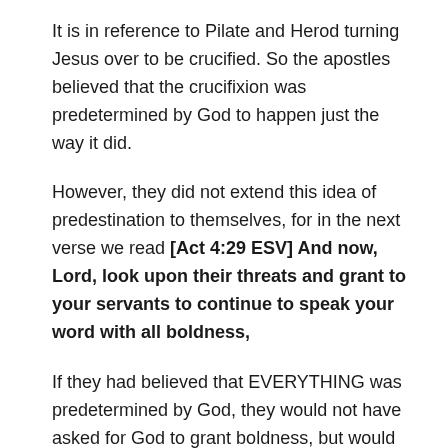It is in reference to Pilate and Herod turning Jesus over to be crucified. So the apostles believed that the crucifixion was predetermined by God to happen just the way it did.
However, they did not extend this idea of predestination to themselves, for in the next verse we read [Act 4:29 ESV] And now, Lord, look upon their threats and grant to your servants to continue to speak your word with all boldness,
If they had believed that EVERYTHING was predetermined by God, they would not have asked for God to grant boldness, but would have thanked God for it already being given.